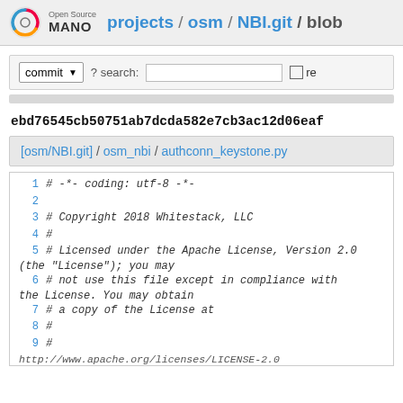Open Source MANO projects / osm / NBI.git / blob
commit ? search: re
ebd76545cb50751ab7dcda582e7cb3ac12d06eaf
[osm/NBI.git] / osm_nbi / authconn_keystone.py
1 # -*- coding: utf-8 -*-
2 
3 # Copyright 2018 Whitestack, LLC
4 #
5 # Licensed under the Apache License, Version 2.0 (the "License"); you may
6 # not use this file except in compliance with the License. You may obtain
7 # a copy of the License at
8 #
9 #
http://www.apache.org/licenses/LICENSE-2.0